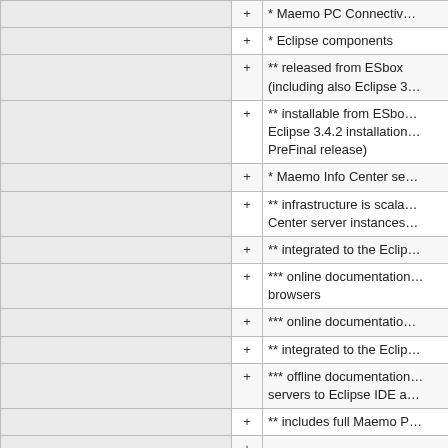|  | + | * Maemo PC Connectiv... |
|  | + | * Eclipse components |
|  | + | ** released from ESbox (including also Eclipse 3... |
|  | + | ** installable from ESbo... Eclipse 3.4.2 installation... PreFinal release) |
|  | + | * Maemo Info Center se... |
|  | + | ** infrastructure is scala... Center server instances... |
|  | + | ** integrated to the Eclip... |
|  | + | *** online documentation... browsers |
|  | + | *** online documentatio... |
|  | + | ** integrated to the Eclip... |
|  | + | *** offline documentation... servers to Eclipse IDE a... |
|  | + | ** includes full Maemo P... |
|  | + |  |
|  | + | === Product configurati... |
|  | + | * Diablo 4.1.2 SDK (late... |